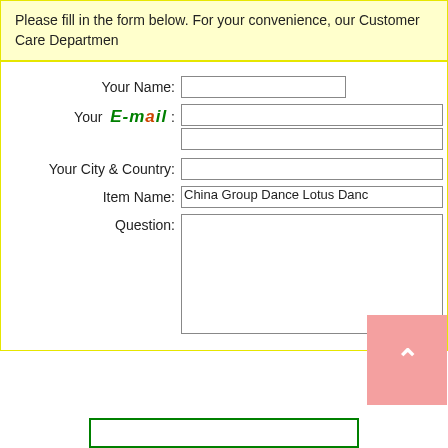Please fill in the form below. For your convenience, our Customer Care Departmen
Your Name: [input field]
Your E-mail : [input fields]
Your City & Country: [input field]
Item Name: China Group Dance Lotus Danc
Question: [textarea]